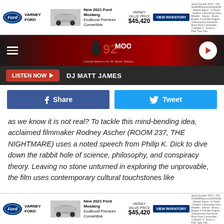[Figure (screenshot): Ford Varney ad banner top - New 2021 Ford Mustang EcoBoost Premium Convertible, Varney Value Price $45,420, VIEW INVENTORY button]
92 Moose - Central Maine's #1 Hit Music Station
LISTEN NOW ▶   DJ MATT JAMES
Share   Tweet
as we know it is not real? To tackle this mind-bending idea, acclaimed filmmaker Rodney Ascher (ROOM 237, THE NIGHTMARE) uses a noted speech from Philip K. Dick to dive down the rabbit hole of science, philosophy, and conspiracy theory. Leaving no stone unturned in exploring the unprovable, the film uses contemporary cultural touchstones like
[Figure (screenshot): Ford Varney ad banner bottom - New 2021 Ford Mustang EcoBoost Premium Convertible, Varney Value Price $45,420, VIEW INVENTORY button]